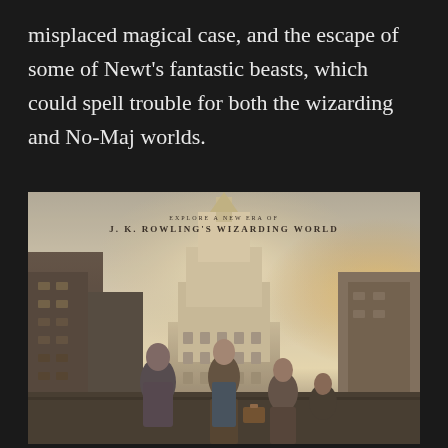misplaced magical case, and the escape of some of Newt's fantastic beasts, which could spell trouble for both the wizarding and No-Maj worlds.
[Figure (photo): Movie promotional poster for Fantastic Beasts and Where to Find Them. Text reads 'EXPLORE A NEW ERA OF J. K. ROWLING'S WIZARDING WORLD' at the top. Shows four characters walking on a New York City street with a tall art deco skyscraper (Woolworth Building) in the misty background. The main character in the center holds a brown case. The scene has a sepia/warm toned atmospheric look.]